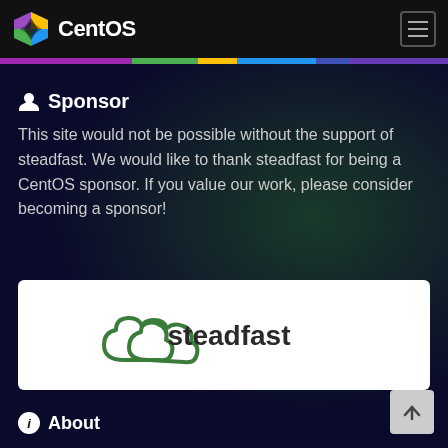CentOS
Sponsor
This site would not be possible without the support of steadfast. We would like to thank steadfast for being a CentOS sponsor. If you value our work, please consider becoming a sponsor!
[Figure (logo): Steadfast company logo with green cloud icon and text 'steadfast' in dark color]
About